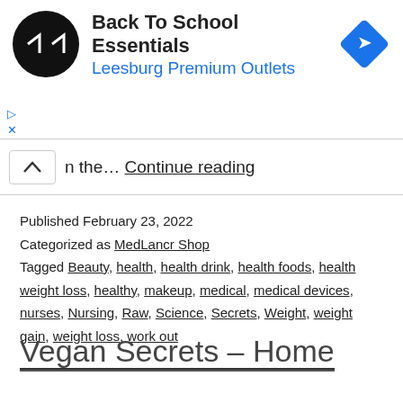[Figure (screenshot): Advertisement banner for Back To School Essentials at Leesburg Premium Outlets, with a circular black logo with white arrows and a blue diamond navigation icon]
n the… Continue reading
Published February 23, 2022
Categorized as MedLancr Shop
Tagged Beauty, health, health drink, health foods, health weight loss, healthy, makeup, medical, medical devices, nurses, Nursing, Raw, Science, Secrets, Weight, weight gain, weight loss, work out
Vegan Secrets – Home